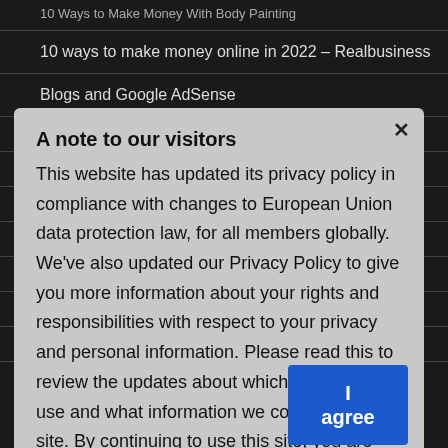10 ways to make money online in 2022 – Realbusiness
Blogs and Google AdSense
How to Start Making Money With Blogging and AdSense
Pump Up Your AdSense Profits
From Blogger to Millionaire – The Policy for AdSense
AdSense Themes – Which One Will Work Best?
Ordinary People Still Making Extraordinary Income on ...
Maximize Your AdSense Earnings
All You Need to Know About Google AdSense
A note to our visitors
This website has updated its privacy policy in compliance with changes to European Union data protection law, for all members globally. We've also updated our Privacy Policy to give you more information about your rights and responsibilities with respect to your privacy and personal information. Please read this to review the updates about which cookies we use and what information we collect on our site. By continuing to use this site, you are agreeing to our updated privacy policy.
I agree